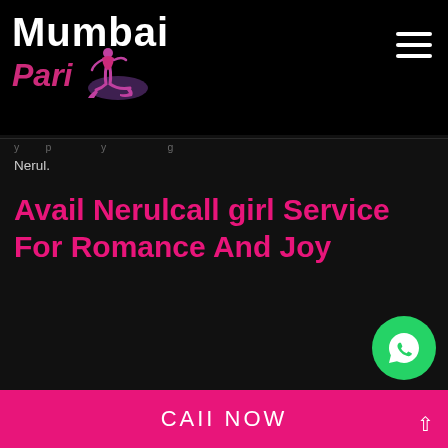[Figure (logo): Mumbai Pari website logo: white bold 'Mumbai' text with pink italic 'Pari' below, accompanied by a silhouette figure in pink/purple]
Nerul.
Avail Nerulcall girl Service For Romance And Joy
[Figure (other): WhatsApp contact button - green circle with WhatsApp phone icon]
CAII NOW